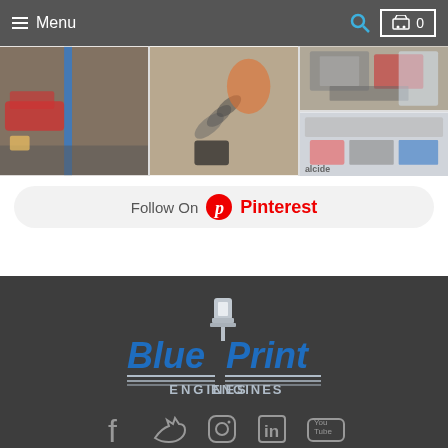Menu | Search | Cart 0
[Figure (photo): Three automotive/mechanic workshop photos in a grid: left shows a vehicle on a lift in a garage, center shows a chain and tools closeup, right shows engine components.]
[Figure (screenshot): Follow On Pinterest button with Pinterest logo]
[Figure (logo): Blueprint Engines logo with blue text and piston graphic]
[Figure (screenshot): Social media icons row: Facebook, Twitter, Instagram, LinkedIn, YouTube]